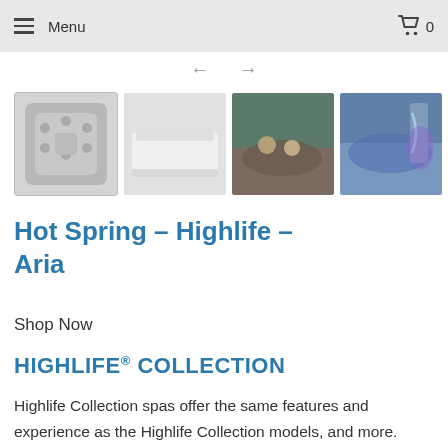Menu   0
[Figure (screenshot): Navigation arrows (left and right) for image carousel]
[Figure (photo): Four thumbnail images of Hot Spring Highlife Aria hot tub: top-down view, side view, lifestyle photo, and lit water feature photo]
Hot Spring – Highlife – Aria
Shop Now
HIGHLIFE® COLLECTION
Highlife Collection spas offer the same features and experience as the Highlife Collection models, and more. From the sculpted shells and Everwood® HD siding to